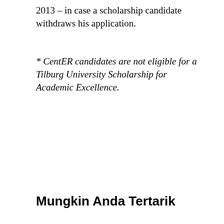2013 – in case a scholarship candidate withdraws his application.
* CentER candidates are not eligible for a Tilburg University Scholarship for Academic Excellence.
Mungkin Anda Tertarik